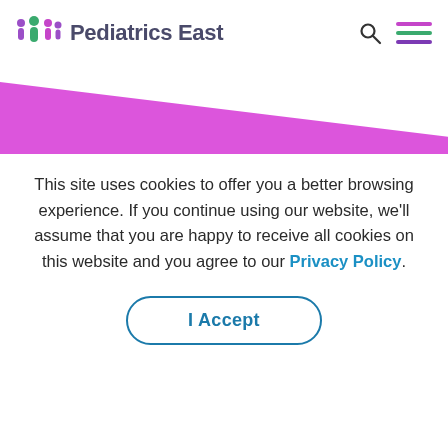Pediatrics East
[Figure (illustration): Pink/magenta triangular banner shape in the upper-left area of the page, tapering from tall on the left to a point on the right]
This site uses cookies to offer you a better browsing experience. If you continue using our website, we'll assume that you are happy to receive all cookies on this website and you agree to our Privacy Policy.
I Accept